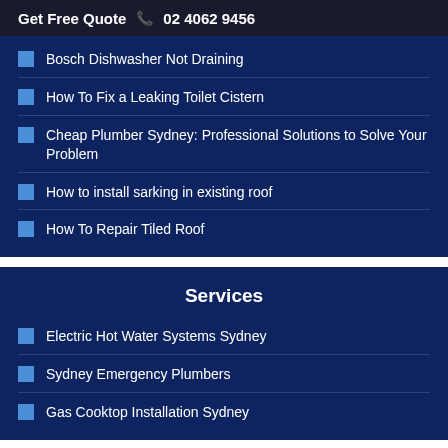Get Free Quote 📞 02 4062 9456
Bosch Dishwasher Not Draining
How To Fix a Leaking Toilet Cistern
Cheap Plumber Sydney: Professional Solutions to Solve Your Problem
How to install sarking in existing roof
How To Repair Tiled Roof
Services
Electric Hot Water Systems Sydney
Sydney Emergency Plumbers
Gas Cooktop Installation Sydney